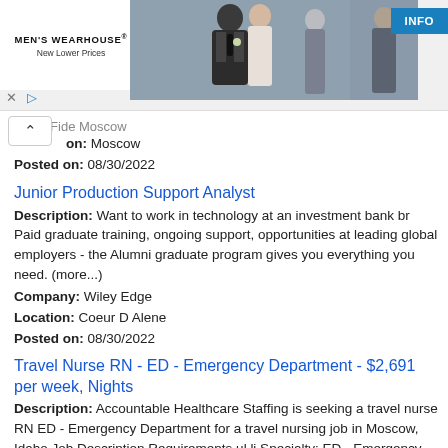[Figure (photo): Men's Wearhouse advertisement banner showing a couple in formal wear and a man in a suit, with 'INFO' button]
city: Fide Moscow
Location: Moscow
Posted on: 08/30/2022
Junior Production Support Analyst
Description: Want to work in technology at an investment bank br Paid graduate training, ongoing support, opportunities at leading global employers - the Alumni graduate program gives you everything you need. (more...)
Company: Wiley Edge
Location: Coeur D Alene
Posted on: 08/30/2022
Travel Nurse RN - ED - Emergency Department - $2,691 per week, Nights
Description: Accountable Healthcare Staffing is seeking a travel nurse RN ED - Emergency Department for a travel nursing job in Moscow, Idaho.Job Description Requirements ul li Specialty: ED - Emergency Department (more...)
Company: Accountable Healthcare Staffing
Location: Moscow